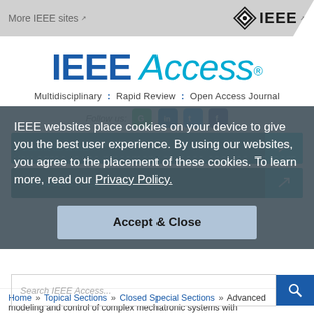More IEEE sites ↗  [IEEE logo] ↗
[Figure (logo): IEEE Access logo: bold blue 'IEEE' followed by light italic cyan 'Access' with registration mark. Subtitle: Multidisciplinary : Rapid Review : Open Access Journal]
Follow us: [social icons for Google Scholar, LinkedIn, Twitter, Facebook]
IEEE websites place cookies on your device to give you the best user experience. By using our websites, you agree to the placement of these cookies. To learn more, read our Privacy Policy.
Accept & Close
Home » Topical Sections » Closed Special Sections » Advanced modeling and control of complex mechatronic systems with